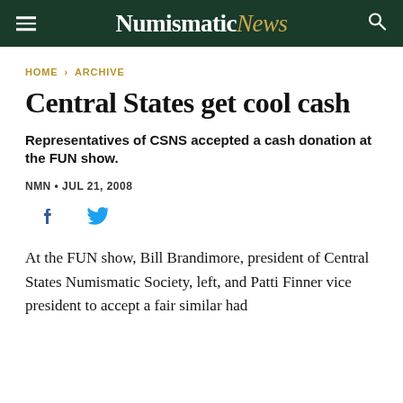Numismatic News
HOME › ARCHIVE
Central States get cool cash
Representatives of CSNS accepted a cash donation at the FUN show.
NMN • JUL 21, 2008
[Figure (other): Social media sharing icons: Facebook and Twitter]
At the FUN show, Bill Brandimore, president of Central States Numismatic Society, left, and Patti Finner vice president to accept a fair similar had